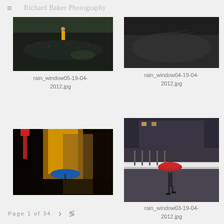≡  Richard Baker Photography
[Figure (photo): Rainy street scene viewed from above, person in yellow jacket visible, dark wet pavement]
rain_window05-19-04-2012.jpg
[Figure (photo): Dark moody shot of what appears to be a rainy area with a figure in the distance, high contrast grey tones]
rain_window04-19-04-2012.jpg
[Figure (photo): Overhead night street scene with yellow glow, blue umbrella visible below]
[Figure (photo): Person walking with red umbrella in a covered outdoor area, iron railings visible]
rain_window03-19-04-2012.jpg
Page 1 of 34